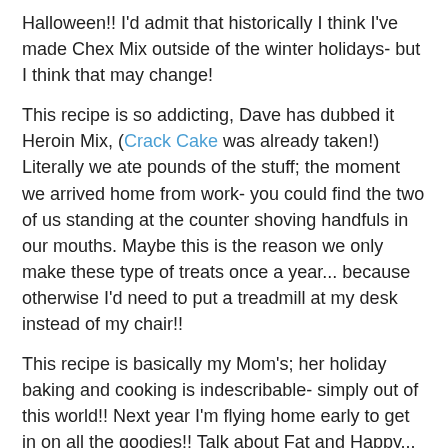Halloween!! I'd admit that historically I think I've made Chex Mix outside of the winter holidays- but I think that may change!
This recipe is so addicting, Dave has dubbed it Heroin Mix, (Crack Cake was already taken!) Literally we ate pounds of the stuff; the moment we arrived home from work- you could find the two of us standing at the counter shoving handfuls in our mouths. Maybe this is the reason we only make these type of treats once a year... because otherwise I'd need to put a treadmill at my desk instead of my chair!!
This recipe is basically my Mom's; her holiday baking and cooking is indescribable- simply out of this world!! Next year I'm flying home early to get in on all the goodies!! Talk about Fat and Happy... yum.
Spicy Chex Mix
1/2 lb butter (2 sticks)
2 Tbls seasoning salt
1 1/2 Tbls granulated garlic